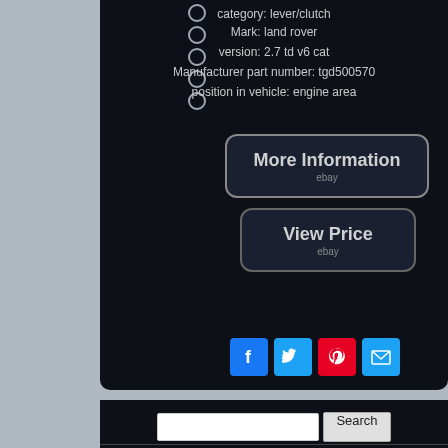category: lever/clutch
Mark: land rover
version: 2.7 td v6 cat
Manufacturer part number: tgd500570
position in vehicle: engine area
[Figure (other): More Information button (eBay listing link)]
[Figure (other): View Price button (eBay listing link)]
[Figure (other): Social sharing icons: Facebook, Twitter, Pinterest, Email]
[Figure (other): Search bar with input field and Search button]